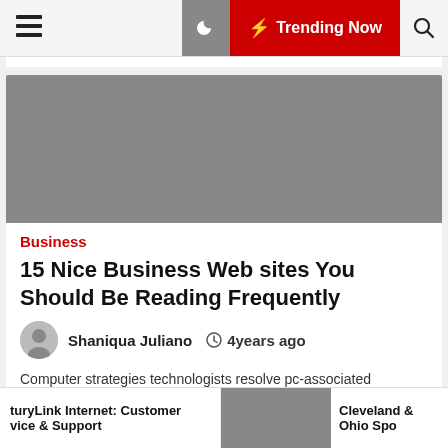≡  🌙  ⚡ Trending Now  🔍
[Figure (photo): Gray placeholder hero image for article]
Business
15 Nice Business Web sites You Should Be Reading Frequently
Shaniqua Juliano  🕐 4years ago
Computer strategies technologists resolve pc-associated problems for businesses, as the position fine-utilities
turyLink Internet: Customer vice & Support  |  [image]  |  Cleveland & Ohio Spo